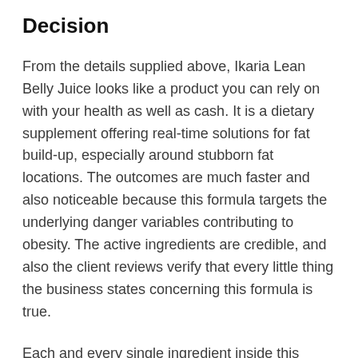Decision
From the details supplied above, Ikaria Lean Belly Juice looks like a product you can rely on with your health as well as cash. It is a dietary supplement offering real-time solutions for fat build-up, especially around stubborn fat locations. The outcomes are much faster and also noticeable because this formula targets the underlying danger variables contributing to obesity. The active ingredients are credible, and also the client reviews verify that every little thing the business states concerning this formula is true.
Each and every single ingredient inside this formula is tested and verified through independent testing, however the supplement overall has